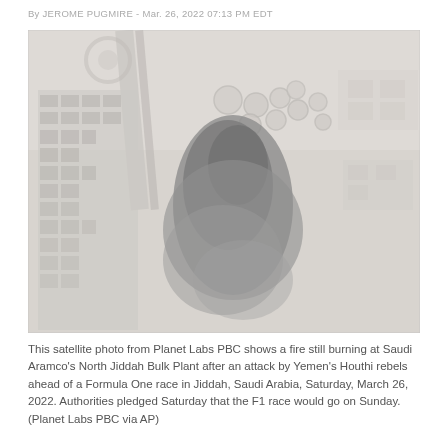By JEROME PUGMIRE - Mar. 26, 2022 07:13 PM EDT
[Figure (photo): Satellite photo from Planet Labs PBC showing a fire still burning at Saudi Aramco's North Jiddah Bulk Plant, with a large dark smoke plume visible over an industrial and residential area, aerial view.]
This satellite photo from Planet Labs PBC shows a fire still burning at Saudi Aramco's North Jiddah Bulk Plant after an attack by Yemen's Houthi rebels ahead of a Formula One race in Jiddah, Saudi Arabia, Saturday, March 26, 2022. Authorities pledged Saturday that the F1 race would go on Sunday. (Planet Labs PBC via AP)